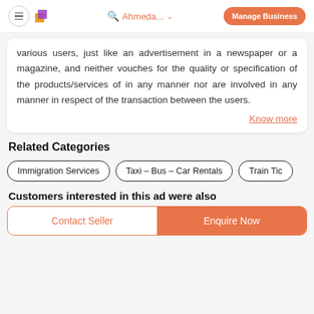Ahmeda... | Manage Business
various users, just like an advertisement in a newspaper or a magazine, and neither vouches for the quality or specification of the products/services of in any manner nor are involved in any manner in respect of the transaction between the users.
Know more
Related Categories
Immigration Services
Taxi – Bus – Car Rentals
Train Tic...
Customers interested in this ad were also
Contact Seller | Enquire Now